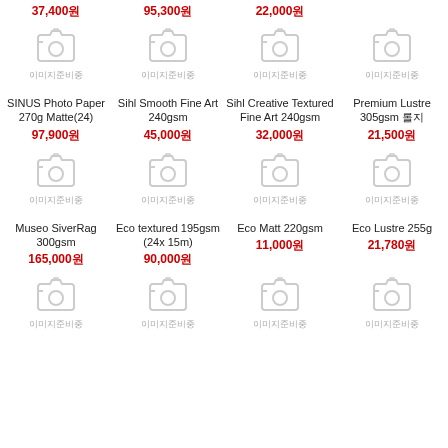37,400원 | 95,300원 | 22,000원
[Figure (other): Image placeholder camera icon with Korean text 이미지준비중]
[Figure (other): Image placeholder camera icon with Korean text 이미지준비중]
[Figure (other): Image placeholder camera icon with Korean text 이미지준비중]
[Figure (other): Image placeholder camera icon with Korean text 이미지준비중]
SINUS Photo Paper 270g Matte(24)
97,900원
Sihl Smooth Fine Art 240gsm
45,000원
Sihl Creative Textured Fine Art 240gsm
32,000원
Premium Lustre 305gsm 롤지
21,500원
[Figure (other): Image placeholder camera icon with Korean text 이미지준비중]
[Figure (other): Image placeholder camera icon with Korean text 이미지준비중]
[Figure (other): Image placeholder camera icon with Korean text 이미지준비중]
[Figure (other): Image placeholder camera icon with Korean text 이미지준비중]
Museo SiverRag 300gsm
165,000원
Eco textured 195gsm (24x 15m)
90,000원
Eco Matt 220gsm
11,000원
Eco Lustre 255g
21,780원
[Figure (other): Image placeholder camera icon with Korean text 이미지준비중]
[Figure (other): Image placeholder camera icon with Korean text 이미지준비중]
[Figure (other): Image placeholder camera icon with Korean text 이미지준비중]
[Figure (other): Image placeholder camera icon with Korean text 이미지준비중]